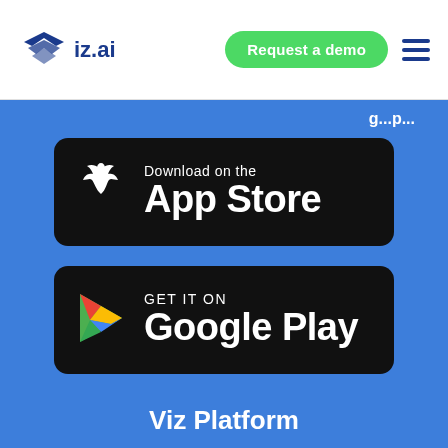viz.ai | Request a demo
[Figure (logo): viz.ai logo with stylized blue wing/bird icon and text viz.ai]
[Figure (screenshot): App Store download badge - black rounded rectangle with Apple logo and text 'Download on the App Store']
[Figure (screenshot): Google Play badge - black rounded rectangle with Google Play triangle logo and text 'GET IT ON Google Play']
Viz Platform